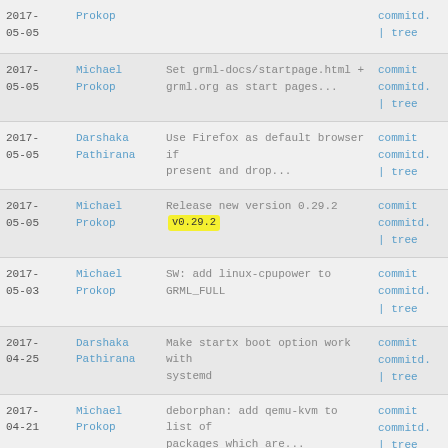| Date | Author | Message | Links |
| --- | --- | --- | --- |
| 2017-05-05 | Prokop |  | commitd. | tree |
| 2017-05-05 | Michael Prokop | Set grml-docs/startpage.html + grml.org as start pages... | commit commitd. | tree |
| 2017-05-05 | Darshaka Pathirana | Use Firefox as default browser if present and drop... | commit commitd. | tree |
| 2017-05-05 | Michael Prokop | Release new version 0.29.2 [v0.29.2] | commit commitd. | tree |
| 2017-05-03 | Michael Prokop | SW: add linux-cpupower to GRML_FULL | commit commitd. | tree |
| 2017-04-25 | Darshaka Pathirana | Make startx boot option work with systemd | commit commitd. | tree |
| 2017-04-21 | Michael Prokop | deborphan: add qemu-kvm to list of packages which are... | commit commitd. | tree |
| 2017-... | Michael | SW: replace transitional package | commit |